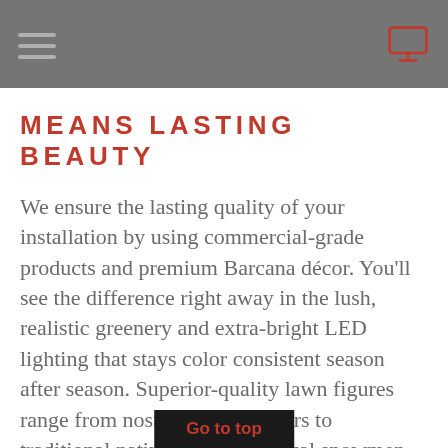MEANS LASTING BEAUTY
We ensure the lasting quality of your installation by using commercial-grade products and premium Barcana décor. You'll see the difference right away in the lush, realistic greenery and extra-bright LED lighting that stays color consistent season after season. Superior-quality lawn figures range from nostalgic toy soldiers to traditional nativities to whimsical snowmen. Festive orbs, color ments and
Go to top